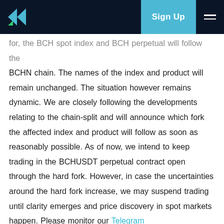Sign Up
for, the BCH spot index and BCH perpetual will follow the BCHN chain. The names of the index and product will remain unchanged. The situation however remains dynamic. We are closely following the developments relating to the chain-split and will announce which fork the affected index and product will follow as soon as reasonably possible. As of now, we intend to keep trading in the BCHUSDT perpetual contract open through the hard fork. However, in case the uncertainties around the hard fork increase, we may suspend trading until clarity emerges and price discovery in spot markets happen. Please monitor our Telegram announcements and Twitter for the most up to date